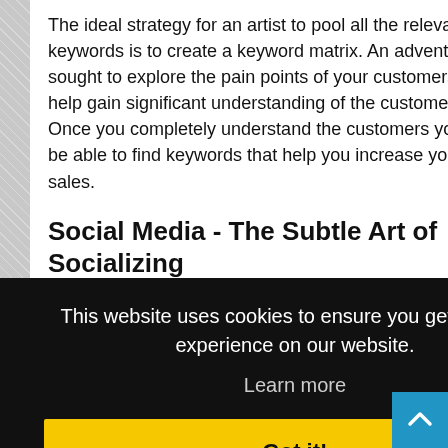The ideal strategy for an artist to pool all the relevant keywords is to create a keyword matrix. An adventure sought to explore the pain points of your customers will help gain significant understanding of the customers. Once you completely understand the customers you will be able to find keywords that help you increase your sales.
Social Media - The Subtle Art of Socializing
This website uses cookies to ensure you get the best experience on our website.
Learn more
Got it!
shows that the global social media users have grown to 3.196 billion.